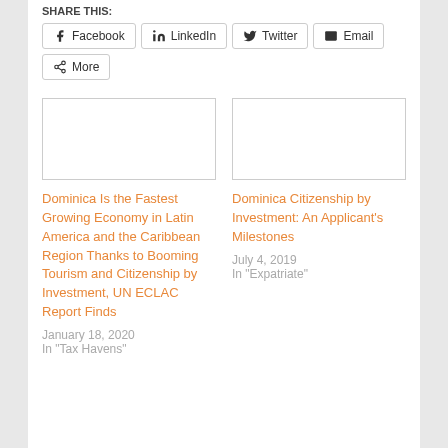SHARE THIS:
Facebook
LinkedIn
Twitter
Email
More
[Figure (photo): Empty image placeholder for related article 1]
Dominica Is the Fastest Growing Economy in Latin America and the Caribbean Region Thanks to Booming Tourism and Citizenship by Investment, UN ECLAC Report Finds
January 18, 2020
In "Tax Havens"
[Figure (photo): Empty image placeholder for related article 2]
Dominica Citizenship by Investment: An Applicant's Milestones
July 4, 2019
In "Expatriate"